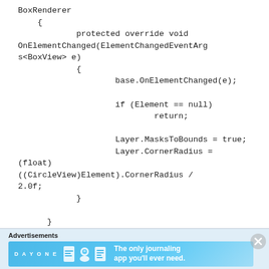BoxRenderer
    {
            protected override void OnElementChanged(ElementChangedEventArgs<BoxView> e)
            {
                    base.OnElementChanged(e);

                    if (Element == null)
                            return;

                    Layer.MasksToBounds = true;
                    Layer.CornerRadius =
(float)
((CircleView)Element).CornerRadius /
2.0f;
            }

      }
}
Advertisements
[Figure (illustration): Day One journaling app advertisement banner with blue background, app icons, and text 'The only journaling app you'll ever need.']